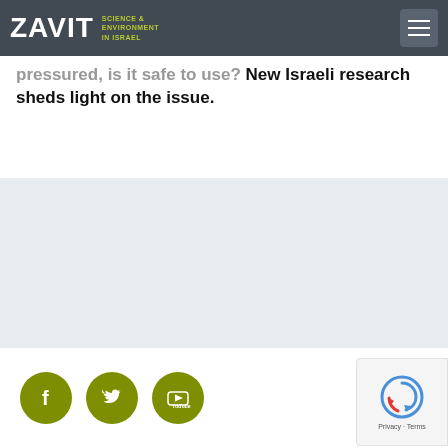ZAVIT SCIENCE & ENVIRONMENT IN ISRAEL
...pressured, is it safe to use? New Israeli research sheds light on the issue.
[Figure (other): Gray advertisement/content banner area]
[Figure (other): Social media icons: Facebook, Twitter, YouTube (olive green circular icons) and reCAPTCHA badge with Privacy - Terms text]